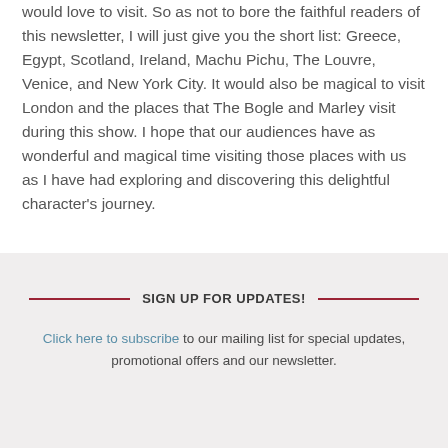would love to visit. So as not to bore the faithful readers of this newsletter, I will just give you the short list: Greece, Egypt, Scotland, Ireland, Machu Pichu, The Louvre, Venice, and New York City. It would also be magical to visit London and the places that The Bogle and Marley visit during this show. I hope that our audiences have as wonderful and magical time visiting those places with us as I have had exploring and discovering this delightful character's journey.
SIGN UP FOR UPDATES!
Click here to subscribe to our mailing list for special updates, promotional offers and our newsletter.